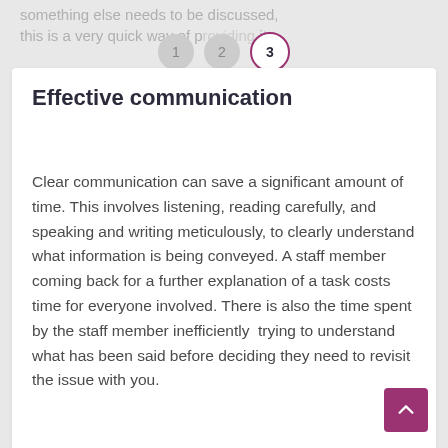something else needs to be discussed, this is a very quick way of providing it.
Effective communication
Clear communication can save a significant amount of time. This involves listening, reading carefully, and speaking and writing meticulously, to clearly understand what information is being conveyed. A staff member coming back for a further explanation of a task costs time for everyone involved. There is also the time spent by the staff member inefficiently trying to understand what has been said before deciding they need to revisit the issue with you.